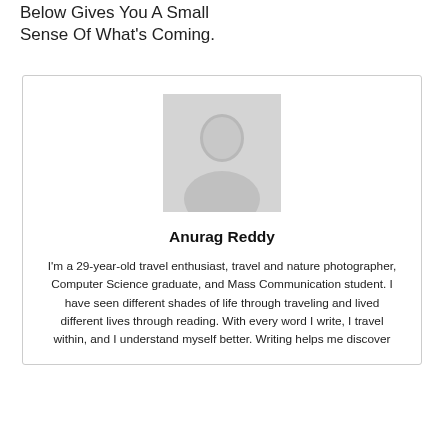Below Gives You A Small Sense Of What's Coming.
[Figure (photo): Profile photo of Anurag Reddy, a person in light-colored shirt, shown as a greyscale/faded portrait]
Anurag Reddy
I'm a 29-year-old travel enthusiast, travel and nature photographer, Computer Science graduate, and Mass Communication student. I have seen different shades of life through traveling and lived different lives through reading. With every word I write, I travel within, and I understand myself better. Writing helps me discover